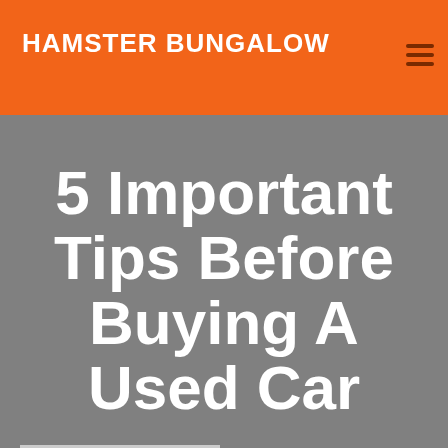HAMSTER BUNGALOW
5 Important Tips Before Buying A Used Car